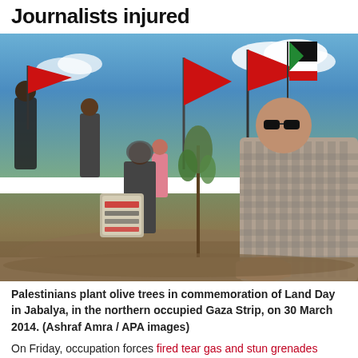Journalists injured
[Figure (photo): Palestinians planting olive trees, people holding red flags and Palestinian flags, a man in a plaid shirt kneeling to plant a small olive tree sapling in the ground, a woman holding a bucket with a sign, a young girl in a pink dress, crowd in background, outdoors on Land Day in Jabalya, northern Gaza Strip, 30 March 2014.]
Palestinians plant olive trees in commemoration of Land Day in Jabalya, in the northern occupied Gaza Strip, on 30 March 2014. (Ashraf Amra / APA images)
On Friday, occupation forces fired tear gas and stun grenades